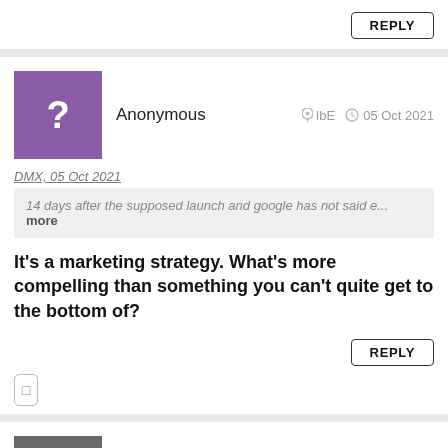REPLY
Anonymous   IbE   05 Oct 2021
DMX, 05 Oct 2021
14 days after the supposed launch and google has not said e... more
It's a marketing strategy. What's more compelling than something you can't quite get to the bottom of?
REPLY
iOS.- Never.- Again   gqB   05 Oct 2021
Anonymous, 05 Oct 2021